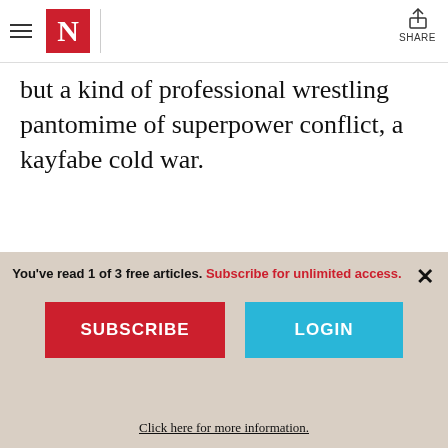The Nation — navigation header with logo and share button
but a kind of professional wrestling pantomime of superpower conflict, a kayfabe cold war.
[Figure (illustration): The Nation Cruise advertisement banner showing sky background with 'Nation.CRUISE December 10-17, 2022' and 'Join The Nation's 2022 Cruise!' text]
You've read 1 of 3 free articles. Subscribe for unlimited access.
SUBSCRIBE
LOGIN
Click here for more information.